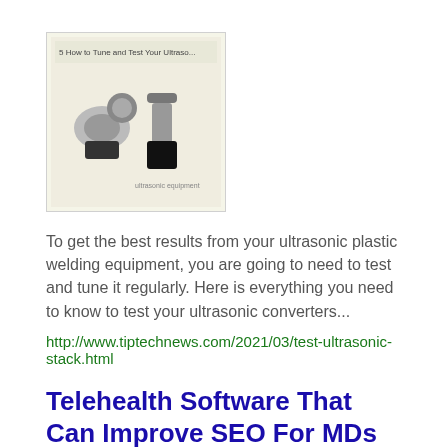[Figure (illustration): Thumbnail image showing ultrasonic testing/tuning equipment diagram with title 'How to Tune and Test Your Ultraso...' on a beige background]
To get the best results from your ultrasonic plastic welding equipment, you are going to need to test and tune it regularly. Here is everything you need to know to test your ultrasonic converters...
http://www.tiptechnews.com/2021/03/test-ultrasonic-stack.html
Telehealth Software That Can Improve SEO For MDs
Mon February 22nd, 2021
[Figure (illustration): Thumbnail image showing a cartoon person with glasses sitting at a computer with 'EA Software That Can Improve SEO' text and SEO logo on teal background]
Health care providers everywhere provide high-quality care to those who need them at their facilities, but at times,